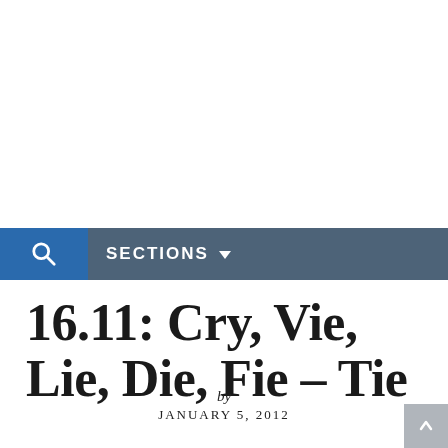SECTIONS
16.11: Cry, Vie, Lie, Die, Fie – Tie
by
JANUARY 5, 2012